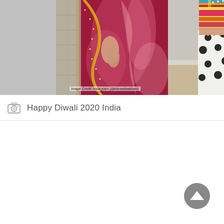[Figure (photo): Two-panel fashion photo showing Indian traditional wear. Left panel: a person wearing a deep red/maroon satin saree with gold embroidered border. Right panel: a person wearing a white polka dot skirt with a colorful embroidered crop top with yellow, pink and multicolor detailing. Image credit text reads: Image Credit: Instagram (@kiaraaliaadvani)]
Happy Diwali 2020 India